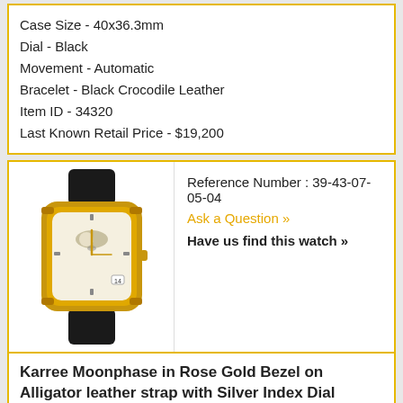Case Size - 40x36.3mm
Dial - Black
Movement - Automatic
Bracelet - Black Crocodile Leather
Item ID - 34320
Last Known Retail Price - $19,200
[Figure (photo): Photo of a luxury watch with gold rectangular case, white dial with moon phase complication, and black crocodile leather strap]
Reference Number : 39-43-07-05-04
Ask a Question »
Have us find this watch »
Karree Moonphase in Rose Gold Bezel on Alligator leather strap with Silver Index Dial
Case - 18KT Rose Gold
Case Size - 35mm
Dial - Silver Index
Movement - Automatic
Bracelet - Alligator leather strap